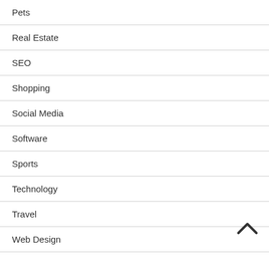Pets
Real Estate
SEO
Shopping
Social Media
Software
Sports
Technology
Travel
Web Design